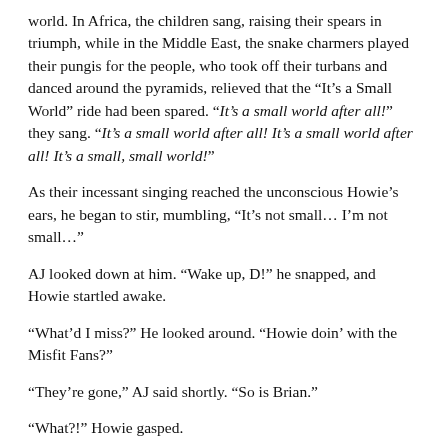world. In Africa, the children sang, raising their spears in triumph, while in the Middle East, the snake charmers played their pungis for the people, who took off their turbans and danced around the pyramids, relieved that the “It’s a Small World” ride had been spared. “It’s a small world after all!” they sang. “It’s a small world after all! It’s a small world after all! It’s a small, small world!”
As their incessant singing reached the unconscious Howie’s ears, he began to stir, mumbling, “It’s not small… I’m not small…”
AJ looked down at him. “Wake up, D!” he snapped, and Howie startled awake.
“What’d I miss?” He looked around. “Howie doin’ with the Misfit Fans?”
“They’re gone,” AJ said shortly. “So is Brian.”
“What?!” Howie gasped.
AJ blinked back tears. “B-Rok used his magic basketball to blow up the spaceship. He sacrificed himself to save the world… just like that damn pandaskunk did two years ago.”